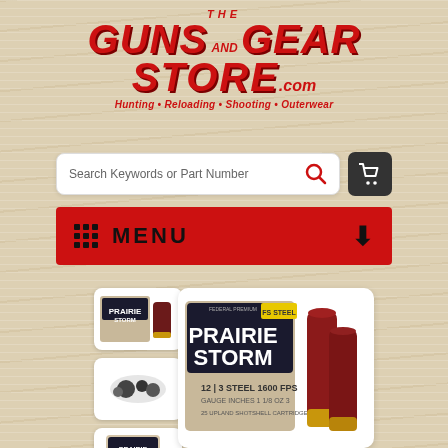[Figure (logo): The Guns and Gear Store .com logo with red bold italic text and tagline: Hunting • Reloading • Shooting • Outerwear]
[Figure (screenshot): Search bar with placeholder text 'Search Keywords or Part Number' and red search icon, plus dark cart button]
[Figure (screenshot): Red menu bar with grid icon, MENU text, and down arrow]
[Figure (photo): Three thumbnail product images in a vertical column on the left: Prairie Storm box thumbnail, wad/pellet thumbnail, Prairie Storm box thumbnail]
[Figure (photo): Main product image showing Prairie Storm shotgun shell box and two red shotgun shells. Label shows: 12 gauge, 3 inch, STEEL 1600 FPS, 1 1/8 oz, 3 shot, 25 upland shotshell cartridges]